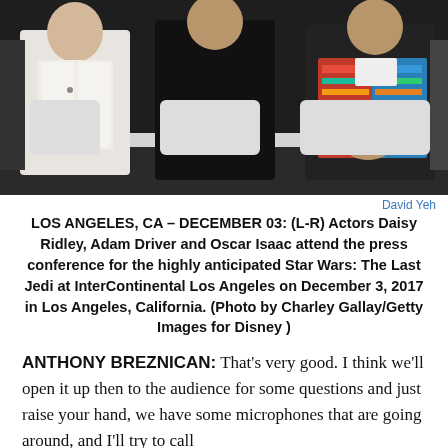[Figure (photo): Three people seated in white chairs at a press conference: a woman in white on the left, a man in black in the center, and a man in a colorful patterned jacket on the right. A glass of water sits on a table in front of them.]
David Yeh
LOS ANGELES, CA – DECEMBER 03: (L-R) Actors Daisy Ridley, Adam Driver and Oscar Isaac attend the press conference for the highly anticipated Star Wars: The Last Jedi at InterContinental Los Angeles on December 3, 2017 in Los Angeles, California. (Photo by Charley Gallay/Getty Images for Disney )
ANTHONY BREZNICAN: That's very good. I think we'll open it up then to the audience for some questions and just raise your hand, we have some microphones that are going around, and I'll try to call